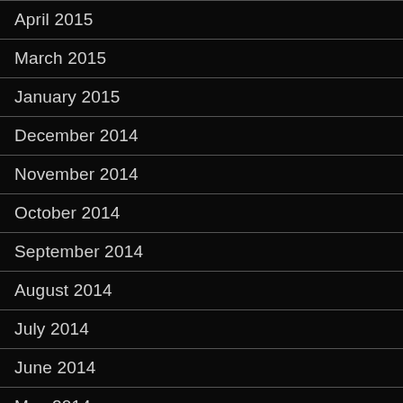April 2015
March 2015
January 2015
December 2014
November 2014
October 2014
September 2014
August 2014
July 2014
June 2014
May 2014
April 2014
March 2014